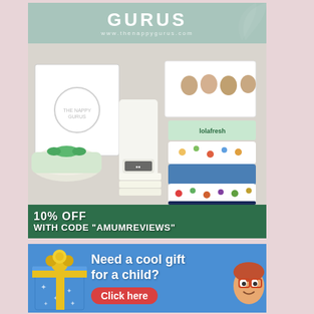[Figure (illustration): Nappy Gurus advertisement showing a mint/sage green header with 'GURUS' logo and website www.thenappygurus.com, a product photo of cloth diapers and baby products arranged in a display box, and a dark green discount banner reading '10% OFF WITH CODE "AMUMREVIEWS"']
[Figure (illustration): Blue advertisement with a blue gift box with yellow ribbon and white stars, text 'Need a cool gift for a child?' and a red 'Click here' button with a cartoon child character]